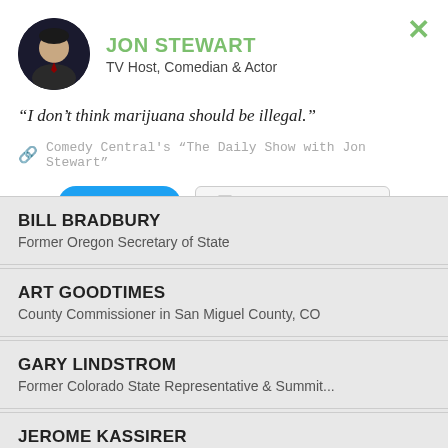JON STEWART
TV Host, Comedian & Actor
“I don’t think marijuana should be illegal.”
Comedy Central's "The Daily Show with Jon Stewart"
Tweet
Share image meme
BILL BRADBURY
Former Oregon Secretary of State
ART GOODTIMES
County Commissioner in San Miguel County, CO
GARY LINDSTROM
Former Colorado State Representative & Summit...
JEROME KASSIRER
Former Editor of the New England Journal of...